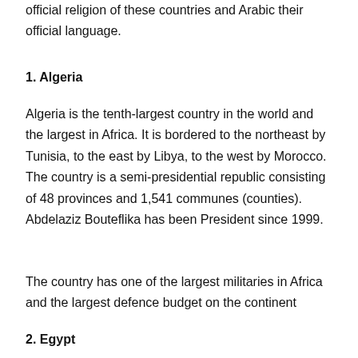official religion of these countries and Arabic their official language.
1. Algeria
Algeria is the tenth-largest country in the world and the largest in Africa. It is bordered to the northeast by Tunisia, to the east by Libya, to the west by Morocco. The country is a semi-presidential republic consisting of 48 provinces and 1,541 communes (counties). Abdelaziz Bouteflika has been President since 1999.
The country has one of the largest militaries in Africa and the largest defence budget on the continent
2. Egypt